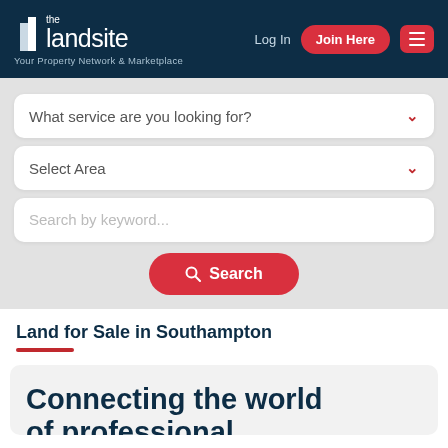[Figure (logo): The Landsite logo — building icon with 'the landsite' text and tagline 'Your Property Network & Marketplace' on dark blue header background]
Log In
Join Here
What service are you looking for?
Select Area
Search by keyword...
Search
Land for Sale in Southampton
Connecting the world of professional